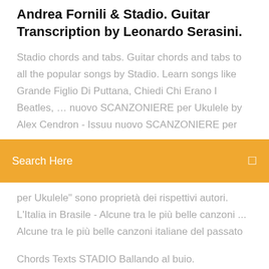Andrea Fornili & Stadio. Guitar Transcription by Leonardo Serasini.
Stadio chords and tabs. Guitar chords and tabs to all the popular songs by Stadio. Learn songs like Grande Figlio Di Puttana, Chiedi Chi Erano I Beatles, … nuovo SCANZONIERE per Ukulele by Alex Cendron - Issuu nuovo SCANZONIERE per
Search Here
per Ukulele" sono proprietà dei rispettivi autori. L'Italia in Brasile - Alcune tra le più belle canzoni ... Alcune tra le più belle canzoni italiane del passato
Chords Texts STADIO Ballando al buio. Chordsound to play your music, study scales, positions for guitar, search, manage, request and send chords, lyrics and sheet music Chords for Stadio - Ballando al buio (testo) [G D A Bm Em] Chords for Stadio - Ballando al buio (testo) with capo transposer, play along with guitar, piano, ukulele & mandolin. Accordi Ballando al bui...